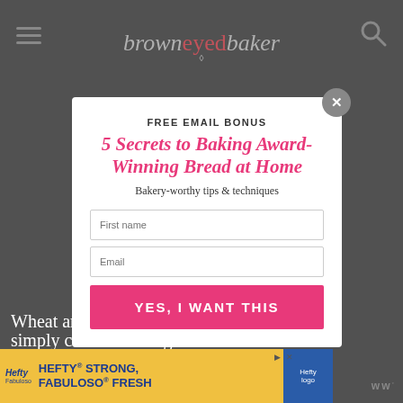brown eyed baker
FREE EMAIL BONUS
5 Secrets to Baking Award-Winning Bread at Home
Bakery-worthy tips & techniques
First name
Email
YES, I WANT THIS
Wheat and dairy aren't bad for dogs,
simply common allergens for them
[Figure (infographic): Hefty Strong, Fabuloso Fresh advertisement banner at bottom of page]